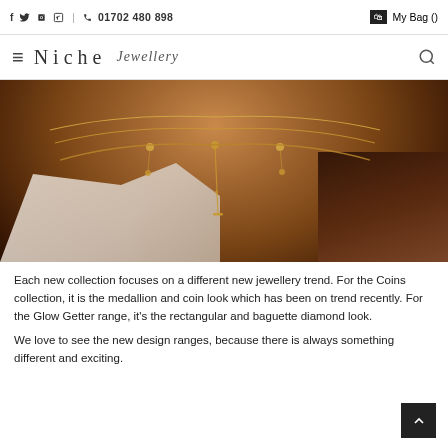f  twitter  pinterest  instagram  |  phone  01702 480 898  |  My Bag ()
Niche Jewellery
[Figure (photo): Close-up photo of a person's neck and chest area wearing multiple layered gold necklaces including chain chokers and a pendant necklace, wearing a white top]
Each new collection focuses on a different new jewellery trend. For the Coins collection, it is the medallion and coin look which has been on trend recently. For the Glow Getter range, it's the rectangular and baguette diamond look.
We love to see the new design ranges, because there is always something different and exciting.